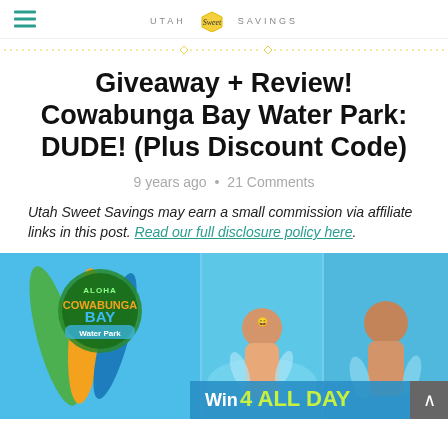UTAH Sweet SAVINGS
Giveaway + Review! Cowabunga Bay Water Park: DUDE! (Plus Discount Code)
9 years ago • 21 Comments
Utah Sweet Savings may earn a small commission via affiliate links in this post. Read our full disclosure policy here.
[Figure (photo): Cowabunga Bay Water Park banner image showing colorful surfboards, people playing in water, and text 'Win 4 ALL DAY Passes']